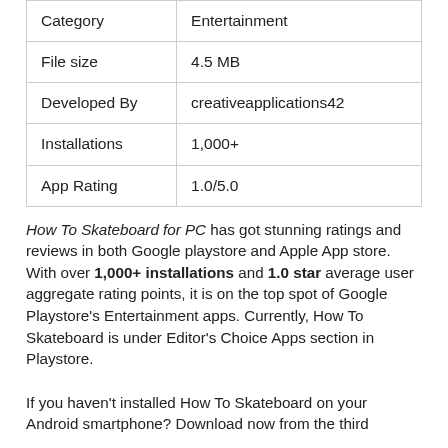| Category | Entertainment |
| File size | 4.5 MB |
| Developed By | creativeapplications42 |
| Installations | 1,000+ |
| App Rating | 1.0/5.0 |
How To Skateboard for PC has got stunning ratings and reviews in both Google playstore and Apple App store. With over 1,000+ installations and 1.0 star average user aggregate rating points, it is on the top spot of Google Playstore's Entertainment apps. Currently, How To Skateboard is under Editor's Choice Apps section in Playstore.
If you haven't installed How To Skateboard on your Android smartphone? Download now from the third